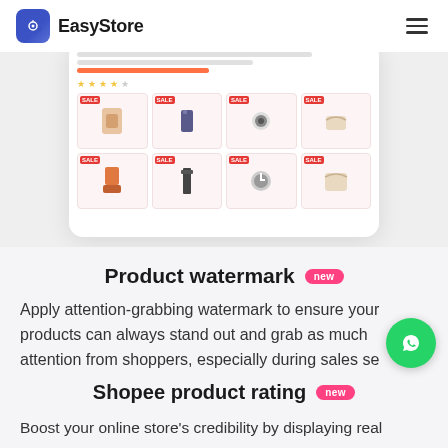EasyStore
[Figure (screenshot): EasyStore mobile app screenshot showing a product grid with sale badges and product images including clothing, watch, and bag items]
Product watermark  new
Apply attention-grabbing watermark to ensure your products can always stand out and grab as much attention from shoppers, especially during sales se...
Shopee product rating  new
Boost your online store's credibility by displaying real